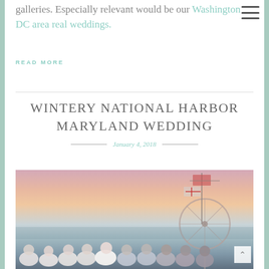galleries. Especially relevant would be our Washington DC area real weddings.
READ MORE
WINTERY NATIONAL HARBOR MARYLAND WEDDING
January 4, 2018
[Figure (photo): Group of bridesmaids posing outdoors at sunset near National Harbor waterfront with a ferris wheel and flags visible in the background.]